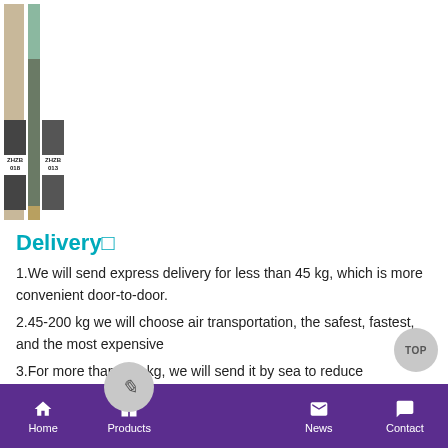[Figure (photo): Left: Bearing parts with yellow labels showing part numbers 207-27-61220 (5 PCS), 207-27-6122Q (5 PCS), and 4455098 (10PCS), branded as GENUINE PARTS. Right: Warehouse pallets wrapped in dark packaging with labels ZHZB 018 and ZHZB 013.]
Delivery
1.We will send express delivery for less than 45 kg, which is more convenient door-to-door.
2.45-200 kg we will choose air transportation, the safest, fastest, and the most expensive
3.For more than 200 kg, we will send it by sea to reduce
Home   Products   [center button]   News   Contact